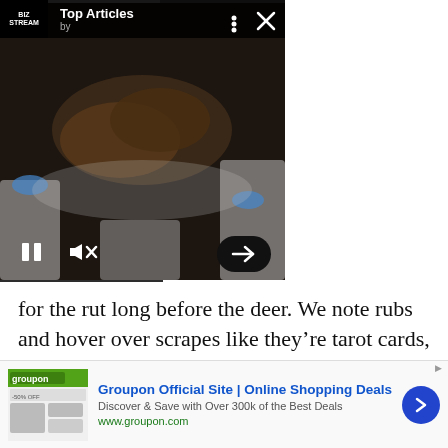[Figure (screenshot): Video player overlay showing a mummified animal specimen being examined by scientists in white lab coats and blue gloves. Overlay includes 'Top Articles by BizStream' branding bar, video controls (pause and mute buttons), and navigation arrow. Dark background with media player UI elements.]
Scientists Plan to Use Gene Editing to Bring Tasmanian Tigers Back from Extinction
for the rut long before the deer. We note rubs and hover over scrapes like they’re tarot cards, hoping these all-important signs will reveal just when the peak action is going to begin. It may sound like hocus-pocus, but here’s the truth: If you’re not obsessing over this stuff right now, you’ll be three steps behind when things actually get good.
[Figure (screenshot): Groupon advertisement banner. Shows Groupon logo and website screenshot on left. Text reads 'Groupon Official Site | Online Shopping Deals', 'Discover & Save with Over 300k of the Best Deals', 'www.groupon.com'. Blue circular arrow button on right.]